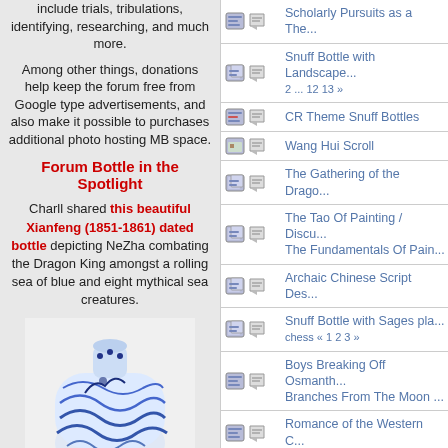include trials, tribulations, identifying, researching, and much more.
Among other things, donations help keep the forum free from Google type advertisements, and also make it possible to purchases additional photo hosting MB space.
Forum Bottle in the Spotlight
Charll shared this beautiful Xianfeng (1851-1861) dated bottle depicting NeZha combating the Dragon King amongst a rolling sea of blue and eight mythical sea creatures.
[Figure (photo): Blue and white Chinese snuff bottle depicting NeZha combating the Dragon King amid rolling blue waves and sea creatures]
| icon1 | icon2 | Topic |
| --- | --- | --- |
|  |  | Scholarly Pursuits as a The... |
|  |  | Snuff Bottle with Landscape... 2 ... 12 13 » |
|  |  | CR Theme Snuff Bottles |
|  |  | Wang Hui Scroll |
|  |  | The Gathering of the Drago... |
|  |  | The Tao Of Painting / Discu... The Fundamentals Of Pain... |
|  |  | Archaic Chinese Script Des... |
|  |  | Snuff Bottle with Sages pla... chess « 1 2 3 » |
|  |  | Boys Breaking Off Osmanth... Branches From The Moon ... |
|  |  | Romance of the Western C... |
|  |  | Erotica, Love Stories, Conc... Courtesians |